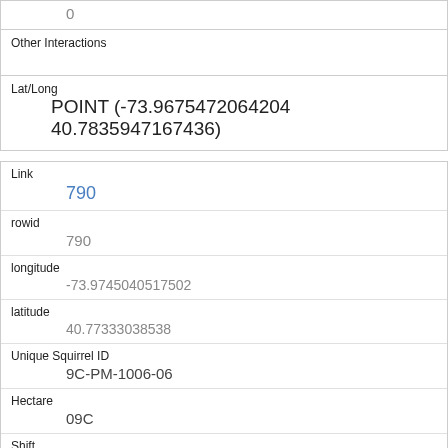|  | 0 |
| Other Interactions |  |
| Lat/Long | POINT (-73.9675472064204 40.7835947167436) |
| Link | 790 |
| rowid | 790 |
| longitude | -73.9745040517502 |
| latitude | 40.77333038538 |
| Unique Squirrel ID | 9C-PM-1006-06 |
| Hectare | 09C |
| Shift | PM |
| Date |  |